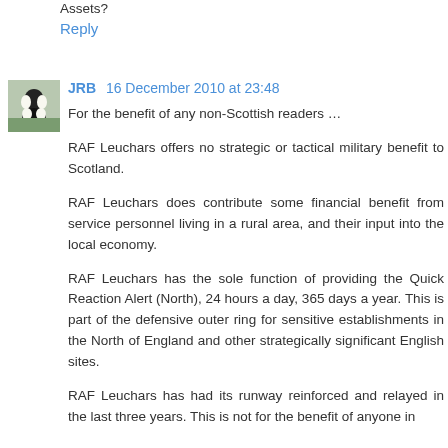Assets?
Reply
JRB  16 December 2010 at 23:48
For the benefit of any non-Scottish readers …
RAF Leuchars offers no strategic or tactical military benefit to Scotland.
RAF Leuchars does contribute some financial benefit from service personnel living in a rural area, and their input into the local economy.
RAF Leuchars has the sole function of providing the Quick Reaction Alert (North), 24 hours a day, 365 days a year. This is part of the defensive outer ring for sensitive establishments in the North of England and other strategically significant English sites.
RAF Leuchars has had its runway reinforced and relayed in the last three years. This is not for the benefit of anyone in